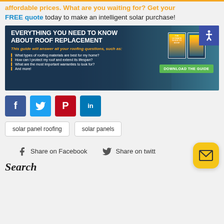affordable prices. What are you waiting for? Get your FREE quote today to make an intelligent solar purchase!
[Figure (infographic): Banner ad: EVERYTHING YOU NEED TO KNOW ABOUT ROOF REPLACEMENT. This guide will answer all your roofing questions, such as: bullet list of roofing questions. DOWNLOAD THE GUIDE button. Book cover image on right. Accessibility icon top right corner.]
[Figure (infographic): Social share buttons row: Facebook (blue), Twitter (light blue), Pinterest (red), LinkedIn (blue)]
solar panel roofing
solar panels
Share on Facebook
Share on twitt
Search